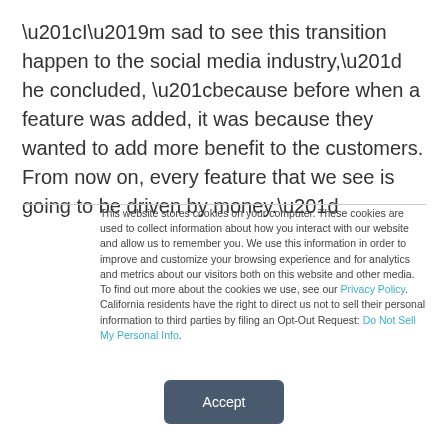“I’m sad to see this transition happen to the social media industry,” he concluded, “because before when a feature was added, it was because they wanted to add more benefit to the customers. From now on, every feature that we see is going to be driven by money.”
This website stores cookies on your computer. These cookies are used to collect information about how you interact with our website and allow us to remember you. We use this information in order to improve and customize your browsing experience and for analytics and metrics about our visitors both on this website and other media. To find out more about the cookies we use, see our Privacy Policy. California residents have the right to direct us not to sell their personal information to third parties by filing an Opt-Out Request: Do Not Sell My Personal Info.
Accept